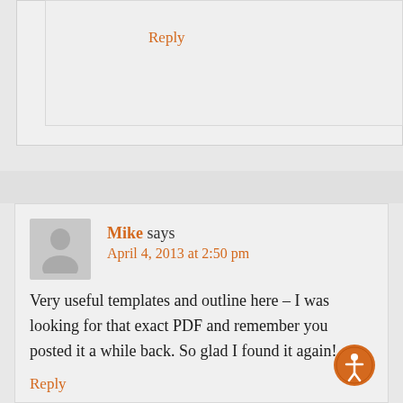Reply
Mike says
April 4, 2013 at 2:50 pm
Very useful templates and outline here – I was looking for that exact PDF and remember you posted it a while back. So glad I found it again!
Reply